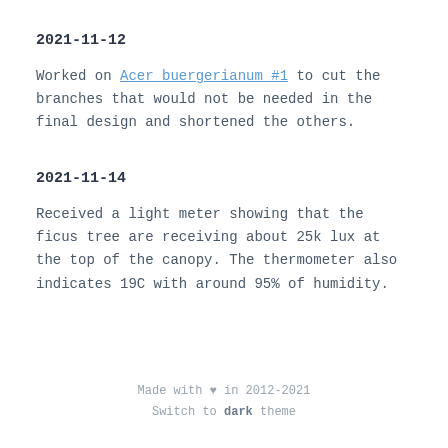2021-11-12
Worked on Acer buergerianum #1 to cut the branches that would not be needed in the final design and shortened the others.
2021-11-14
Received a light meter showing that the ficus tree are receiving about 25k lux at the top of the canopy. The thermometer also indicates 19C with around 95% of humidity.
Made with ♥ in 2012-2021
Switch to dark theme